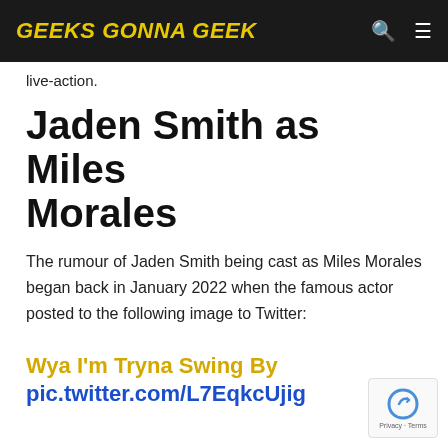Geeks Gonna Geek
live-action.
Jaden Smith as Miles Morales
The rumour of Jaden Smith being cast as Miles Morales began back in January 2022 when the famous actor posted to the following image to Twitter:
Wya I'm Tryna Swing By
pic.twitter.com/L7EqkcUjig